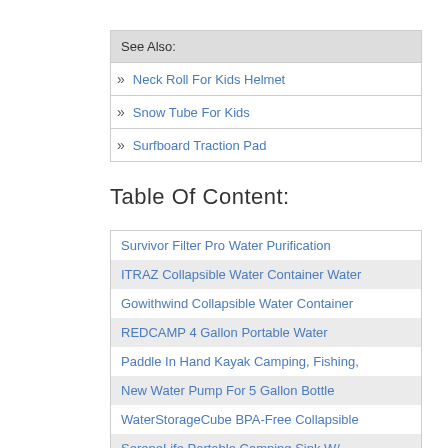See Also:
Neck Roll For Kids Helmet
Snow Tube For Kids
Surfboard Traction Pad
Table Of Content:
Survivor Filter Pro Water Purification
ITRAZ Collapsible Water Container Water
Gowithwind Collapsible Water Container
REDCAMP 4 Gallon Portable Water
Paddle In Hand Kayak Camping, Fishing,
New Water Pump For 5 Gallon Bottle
WaterStorageCube BPA-Free Collapsible
SereneLife Portable Camping Sink W/